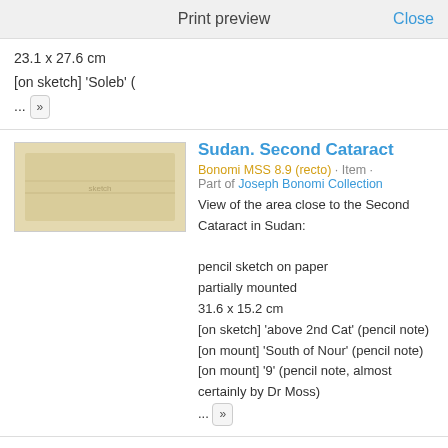Print preview    Close
23.1 x 27.6 cm
[on sketch] 'Soleb' (
... »
Sudan. Second Cataract
Bonomi MSS 8.9 (recto) · Item · Part of Joseph Bonomi Collection
View of the area close to the Second Cataract in Sudan:

pencil sketch on paper
partially mounted
31.6 x 15.2 cm
[on sketch] 'above 2nd Cat' (pencil note)
[on mount] 'South of Nour' (pencil note)
[on mount] '9' (pencil note, almost certainly by Dr Moss)
... »
Egypt. Gerf Husein. Temple of Ptah
Bonomi MSS 8.10 (lower) · Item · Part of Joseph Bonomi Collection
View of the Temple of Ptah at Gerf Husein in Egypt